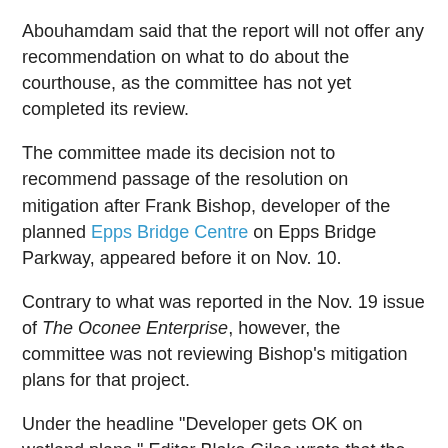Abouhamdam said that the report will not offer any recommendation on what to do about the courthouse, as the committee has not yet completed its review.
The committee made its decision not to recommend passage of the resolution on mitigation after Frank Bishop, developer of the planned Epps Bridge Centre on Epps Bridge Parkway, appeared before it on Nov. 10.
Contrary to what was reported in the Nov. 19 issue of The Oconee Enterprise, however, the committee was not reviewing Bishop's mitigation plans for that project.
Under the headline "Developer gets OK on wetland plans," Editor Blake Giles wrote that the committee decided that "developer Frank Bishop will not have to adjust his stream mitigation plans."
The committee was not reviewing Bishop's mitigation plans. Bishop obtained his permit from the U.S. Army Corps of Engineers in January, and the county has no authority to issue or modify such permits.